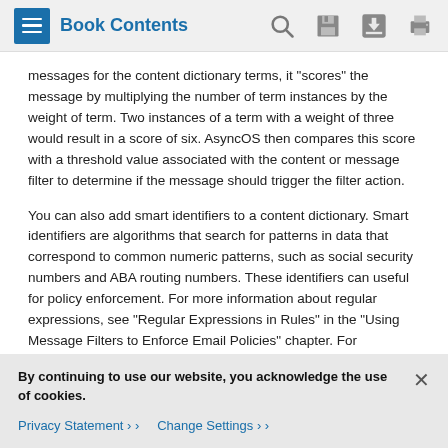Book Contents
messages for the content dictionary terms, it “scores” the message by multiplying the number of term instances by the weight of term. Two instances of a term with a weight of three would result in a score of six. AsyncOS then compares this score with a threshold value associated with the content or message filter to determine if the message should trigger the filter action.
You can also add smart identifiers to a content dictionary. Smart identifiers are algorithms that search for patterns in data that correspond to common numeric patterns, such as social security numbers and ABA routing numbers. These identifiers can useful for policy enforcement. For more information about regular expressions, see “Regular Expressions in Rules” in the “Using Message Filters to Enforce Email Policies” chapter. For
By continuing to use our website, you acknowledge the use of cookies.
Privacy Statement ›   Change Settings ›